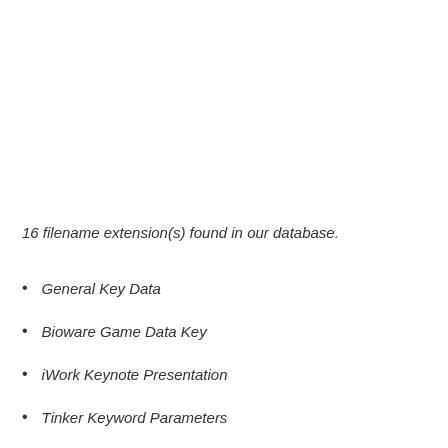16 filename extension(s) found in our database.
General Key Data
Bioware Game Data Key
iWork Keynote Presentation
Tinker Keyword Parameters